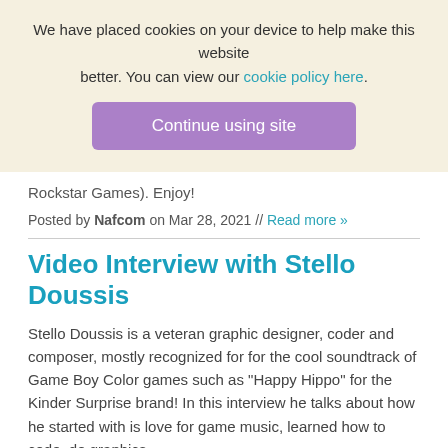We have placed cookies on your device to help make this website better. You can view our cookie policy here.
Continue using site
Rockstar Games). Enjoy!
Posted by Nafcom on Mar 28, 2021 // Read more »
Video Interview with Stello Doussis
Stello Doussis is a veteran graphic designer, coder and composer, mostly recognized for for the cool soundtrack of Game Boy Color games such as "Happy Hippo" for the Kinder Surprise brand! In this interview he talks about how he started with is love for game music, learned how to code, do graphics